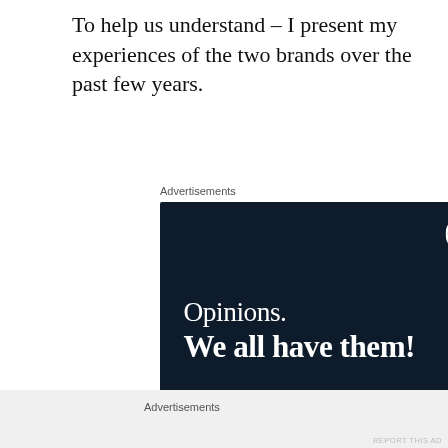To help us understand – I present my experiences of the two brands over the past few years.
Advertisements
[Figure (illustration): Advertisement banner for Crowdsignal/WordPress with dark navy background. Text reads 'Opinions. We all have them!' with a WordPress logo in top right, a pink 'Start a survey' button, and a white circular Crowdsignal logo in bottom right.]
REPORT THIS AD
Advertisements